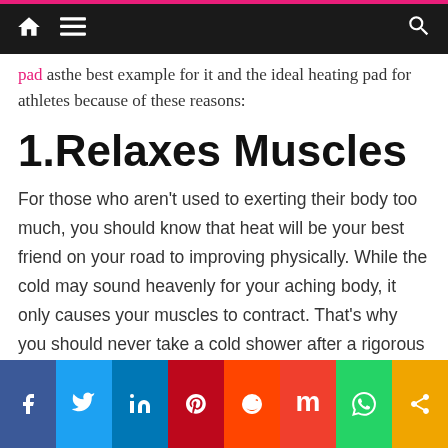Navigation bar with home, menu, and search icons
pad as the best example for it and the ideal heating pad for athletes because of these reasons:
1.Relaxes Muscles
For those who aren't used to exerting their body too much, you should know that heat will be your best friend on your road to improving physically. While the cold may sound heavenly for your aching body, it only causes your muscles to contract. That's why you should never take a cold shower after a rigorous exercise.
As if you just went through a complete massage therapy session, the heat can help your muscles relax,
Social sharing bar: Facebook, Twitter, LinkedIn, Pinterest, Reddit, Mix, WhatsApp, Share